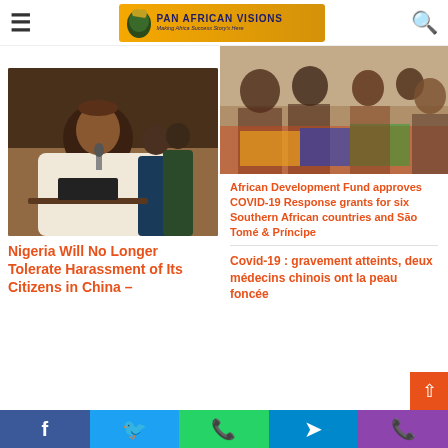Pan African Visions - Making Africa Success Story's Here
[Figure (photo): People gathered at an event, partially visible at top right]
African Development Fund approves COVID-19 Response grants for six Southern African countries and São Tomé & Príncipe
[Figure (photo): Nigerian official in white traditional attire speaking at a press conference with microphone, others in background]
Covid-19 : gravement atteints, deux médecins chinois ont la peau foncée
Nigeria Will No Longer Tolerate Harassment of Its Citizens in China – FG